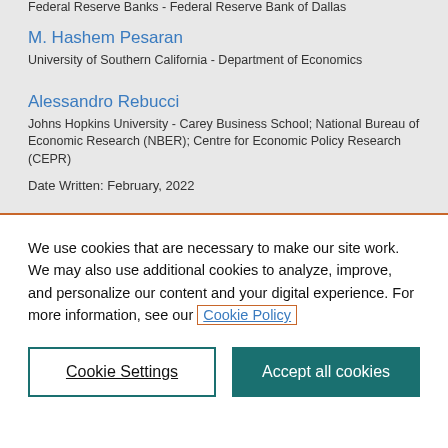Federal Reserve Banks - Federal Reserve Bank of Dallas
M. Hashem Pesaran
University of Southern California - Department of Economics
Alessandro Rebucci
Johns Hopkins University - Carey Business School; National Bureau of Economic Research (NBER); Centre for Economic Policy Research (CEPR)
Date Written: February, 2022
We use cookies that are necessary to make our site work. We may also use additional cookies to analyze, improve, and personalize our content and your digital experience. For more information, see our Cookie Policy
Cookie Settings
Accept all cookies